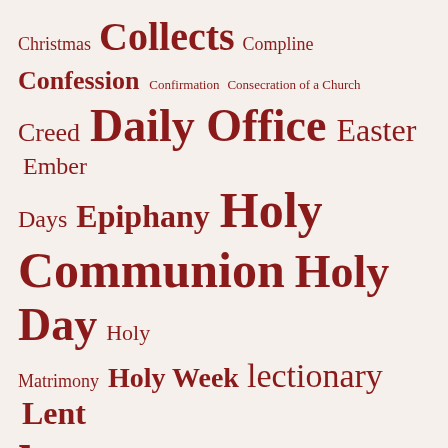[Figure (other): Word cloud of liturgical and religious terms in varying font sizes, all in dark red/maroon color on a cream background. Terms include: Christmas, Collects, Compline, Confession, Confirmation, Consecration of a Church, Creed, Daily Office, Easter, Ember Days, Epiphany, Holy, Communion, Holy Day, Holy, Matrimony, Holy Week, lectionary, Lent, lessons, Litany, Matrimony, Ministry to the Dying, music, Ordinal, Passiontide, Pentecost, prayers, Psalms, Rites of Healing]